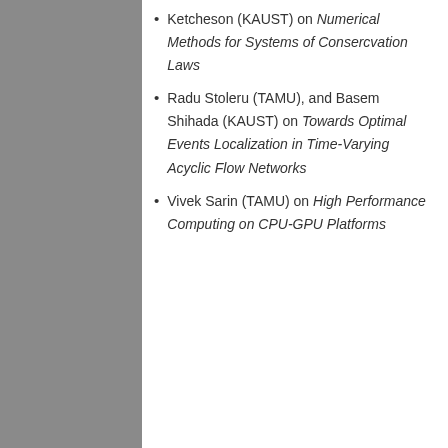Ketcheson (KAUST) on Numerical Methods for Systems of Consercvation Laws
Radu Stoleru (TAMU), and Basem Shihada (KAUST) on Towards Optimal Events Localization in Time-Varying Acyclic Flow Networks
Vivek Sarin (TAMU) on High Performance Computing on CPU-GPU Platforms